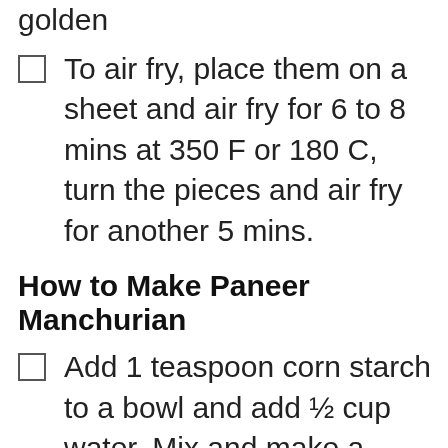To air fry, place them on a sheet and air fry for 6 to 8 mins at 350 F or 180 C, turn the pieces and air fry for another 5 mins.
How to Make Paneer Manchurian
Add 1 teaspoon corn starch to a bowl and add ½ cup water. Mix and make a lump free slurry.